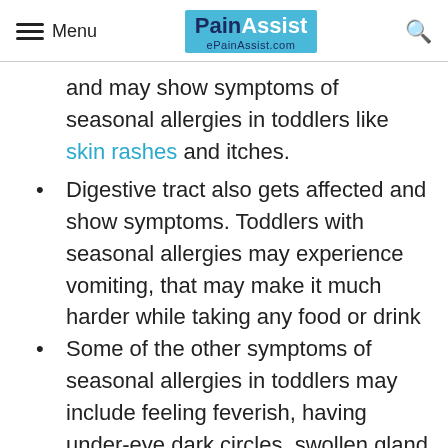Menu | PainAssist ePainAssist.com
and may show symptoms of seasonal allergies in toddlers like skin rashes and itches.
Digestive tract also gets affected and show symptoms. Toddlers with seasonal allergies may experience vomiting, that may make it much harder while taking any food or drink
Some of the other symptoms of seasonal allergies in toddlers may include feeling feverish, having under-eye dark circles, swollen gland in neck, frequent bedwetting and frequent crying out of uneasiness.
One of the severe symptoms of seasonal allergies in toddlers may include anaphylaxis